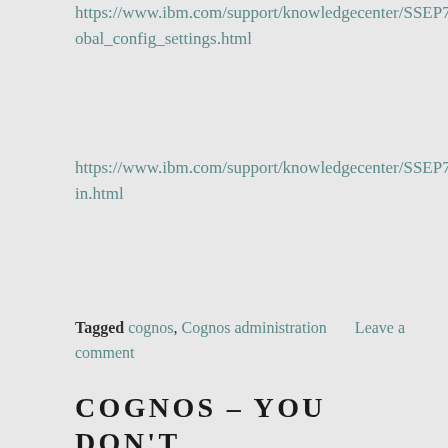https://www.ibm.com/support/knowledgecenter/SSEP7J_11.0.0/com.ibm.swg.ba.cognos.ug_cra.doc/c_mob_global_config_settings.html
https://www.ibm.com/support/knowledgecenter/SSEP7J_11.0.0/com.ibm.swg.ba.cognos.ug_cra.doc/c_mob_admin.html
Tagged cognos, Cognos administration      Leave a comment
COGNOS – YOU DON'T HAVE ACCESS TO THIS